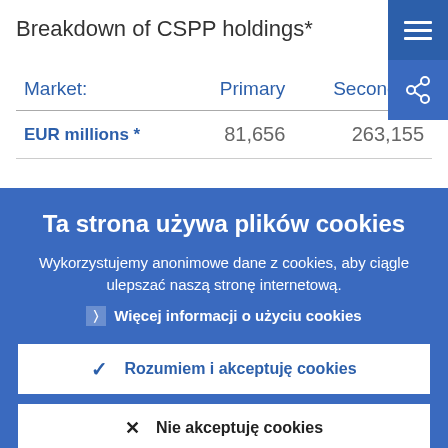Breakdown of CSPP holdings*
| Market: | Primary | Secondary |
| --- | --- | --- |
| EUR millions * | 81,656 | 263,155 |
Ta strona używa plików cookies
Wykorzystujemy anonimowe dane z cookies, aby ciągle ulepszać naszą stronę internetową.
Więcej informacji o użyciu cookies
Rozumiem i akceptuję cookies
Nie akceptuję cookies